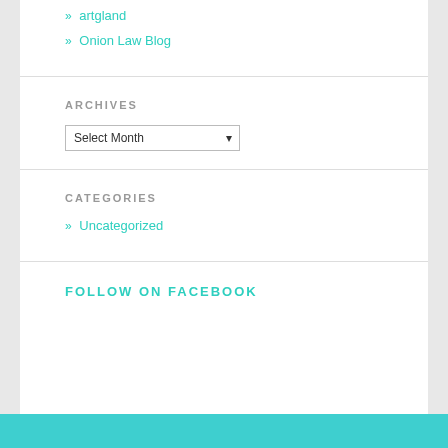» artgland
» Onion Law Blog
ARCHIVES
Select Month (dropdown)
CATEGORIES
» Uncategorized
FOLLOW ON FACEBOOK